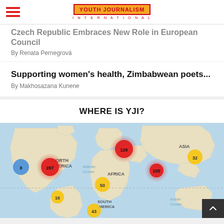YOUTH JOURNALISM INTERNATIONAL
Czech Republic Embraces New Role in European Council
By Renata Pernegrová
Supporting women's health, Zimbabwean poets...
By Makhosazana Kunene
WHERE IS YJI?
[Figure (map): World map showing YJI presence by region with bubble markers: North America 287 (red), 8 (blue); Europe/Middle East 129 (red); Africa/Middle East 105 (red), 50 (gold); Asia 32 (gold); South America 16 (gold), 43 (gold). Labels include NORTH AMERICA, AFRICA, ASIA, SOUTH AMERICA, Atlantic Ocean, Indian Ocean, OCEAN.]